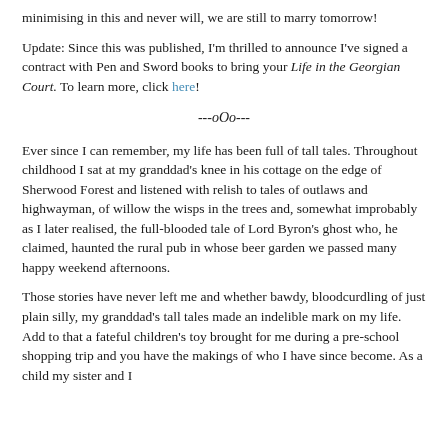…minimising in this and never will, we are still to marry tomorrow!
Update: Since this was published, I'm thrilled to announce I've signed a contract with Pen and Sword books to bring your Life in the Georgian Court. To learn more, click here!
---oOo---
Ever since I can remember, my life has been full of tall tales. Throughout childhood I sat at my granddad's knee in his cottage on the edge of Sherwood Forest and listened with relish to tales of outlaws and highwayman, of willow the wisps in the trees and, somewhat improbably as I later realised, the full-blooded tale of Lord Byron's ghost who, he claimed, haunted the rural pub in whose beer garden we passed many happy weekend afternoons.
Those stories have never left me and whether bawdy, bloodcurdling of just plain silly, my granddad's tall tales made an indelible mark on my life. Add to that a fateful children's toy brought for me during a pre-school shopping trip and you have the makings of who I have since become. As a child my sister and I…